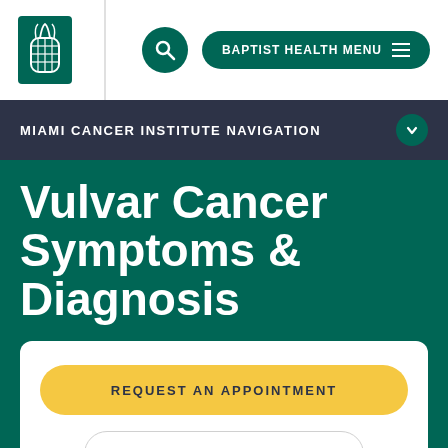[Figure (logo): Baptist Health pineapple logo in white on dark green background]
BAPTIST HEALTH MENU
MIAMI CANCER INSTITUTE NAVIGATION
Vulvar Cancer Symptoms & Diagnosis
REQUEST AN APPOINTMENT
CALL 786-596-2000
Find a doctor →